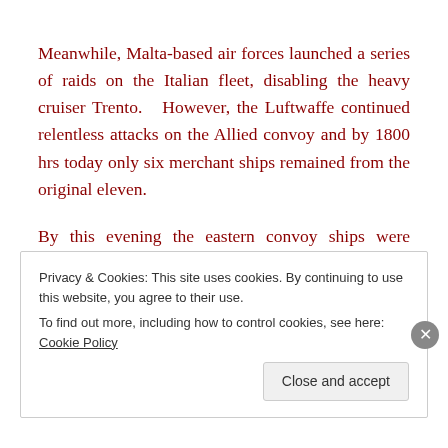Meanwhile, Malta-based air forces launched a series of raids on the Italian fleet, disabling the heavy cruiser Trento. However, the Luftwaffe continued relentless attacks on the Allied convoy and by 1800 hrs today only six merchant ships remained from the original eleven.
By this evening the eastern convoy ships were facing a serious shortage of fuel and ammunition due to enemy attacks and diversionary tactics. With a strong Italian fleet
Privacy & Cookies: This site uses cookies. By continuing to use this website, you agree to their use.
To find out more, including how to control cookies, see here: Cookie Policy